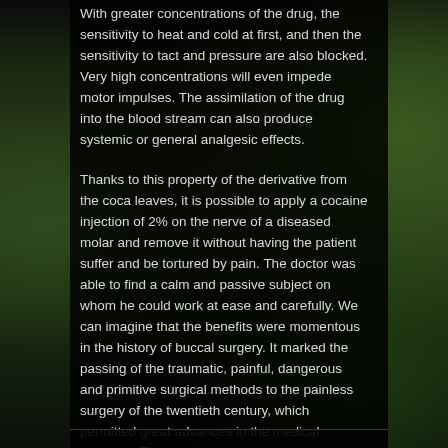With greater concentrations of the drug, the sensitivity to heat and cold at first, and then the sensitivity to tact and pressure are also blocked. Very high concentrations will even impede motor impulses. The assimilation of the drug into the blood stream can also produce systemic or general analgesic effects.
Thanks to this property of the derivative from the coca leaves, it is possible to apply a cocaine injection of 2% on the nerve of a diseased molar and remove it without having the patient suffer and be tortured by pain. The doctor was able to find a calm and passive subject on whom he could work at ease and carefully. We can imagine that the benefits were momentous in the history of buccal surgery. It marked the passing of the traumatic, painful, dangerous and primitive surgical methods to the painless surgery of the twentieth century, which permitted great advances in the medical sciences. The coca leaves and the miraculous substance against pain, cocaine, soon rose to the pinnacle of pharmacology and medicine.